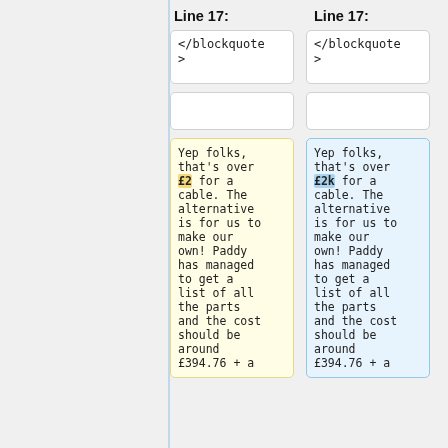Line 17:
Line 17:
</blockquote>
</blockquote>
Yep folks, that's over £2 for a cable. The alternative is for us to make our own! Paddy has managed to get a list of all the parts and the cost should be around £394.76 + a
Yep folks, that's over £2k for a cable. The alternative is for us to make our own! Paddy has managed to get a list of all the parts and the cost should be around £394.76 + a